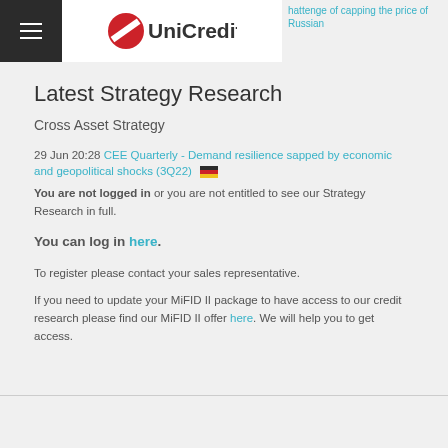UniCredit – Latest Strategy Research
hattenge of capping the price of Russian
Latest Strategy Research
Cross Asset Strategy
29 Jun 20:28 CEE Quarterly - Demand resilience sapped by economic and geopolitical shocks (3Q22) 🇩🇪
You are not logged in or you are not entitled to see our Strategy Research in full.
You can log in here.
To register please contact your sales representative.
If you need to update your MiFID II package to have access to our credit research please find our MiFID II offer here. We will help you to get access.